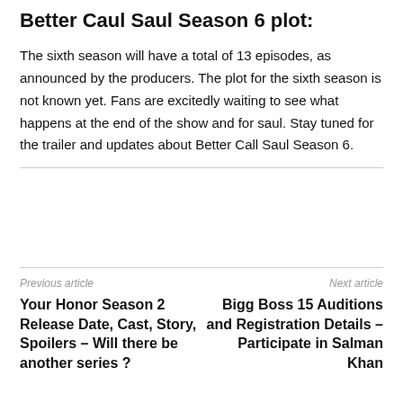Better Caul Saul Season 6 plot:
The sixth season will have a total of 13 episodes, as announced by the producers. The plot for the sixth season is not known yet. Fans are excitedly waiting to see what happens at the end of the show and for saul. Stay tuned for the trailer and updates about Better Call Saul Season 6.
Previous article
Next article
Your Honor Season 2 Release Date, Cast, Story, Spoilers – Will there be another series ?
Bigg Boss 15 Auditions and Registration Details – Participate in Salman Khan